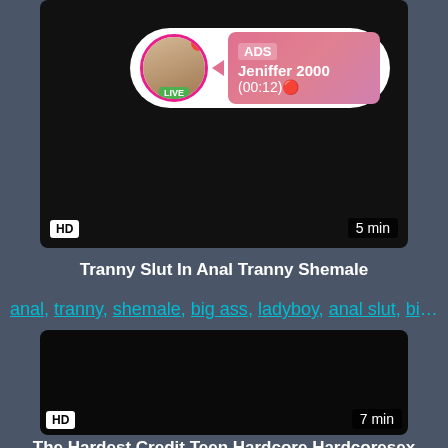[Figure (screenshot): Video thumbnail with black background showing an ad overlay. Ad overlay has a circular avatar with a woman's photo, LIVE badge, notification badge, arrow, and pink gradient box with 'ADS', 'Jeniffer 2000', '(00:12)' text. HD badge bottom left, '5 min' bottom right.]
Tranny Slut In Anal Tranny Shemale
anal, tranny, shemale, big ass, ladyboy, anal slut, big dic...
[Figure (screenshot): Dark/black video thumbnail with HD badge bottom left and '7 min' badge bottom right.]
The Hardest Credit Teen Hardcore Hardcoresex